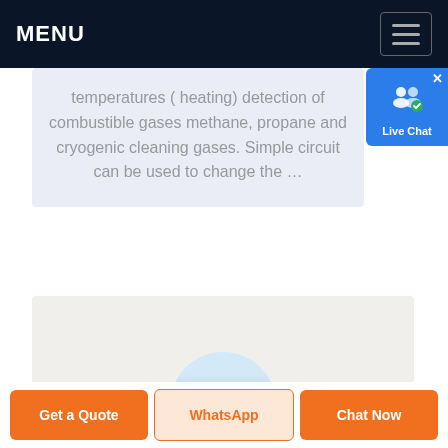MENU
[Figure (screenshot): Live Chat widget bubble overlay in top-right corner]
temperatures ( heating) detection of combustible gases methane, propane and cryogenic cleaning gases. Simple circuit can be used to change the …
[Figure (photo): Product image partially visible at bottom of card, showing a round dome-shaped sensor]
Get a Quote
WhatsApp
Chat Now